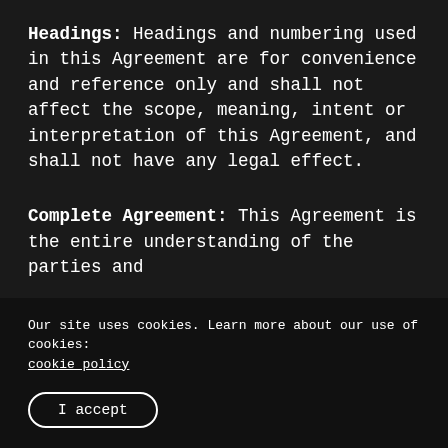Headings: Headings and numbering used in this Agreement are for convenience and reference only and shall not affect the scope, meaning, intent or interpretation of this Agreement, and shall not have any legal effect.
Complete Agreement: This Agreement is the entire understanding of the parties and
Our site uses cookies. Learn more about our use of cookies: cookie policy
I accept